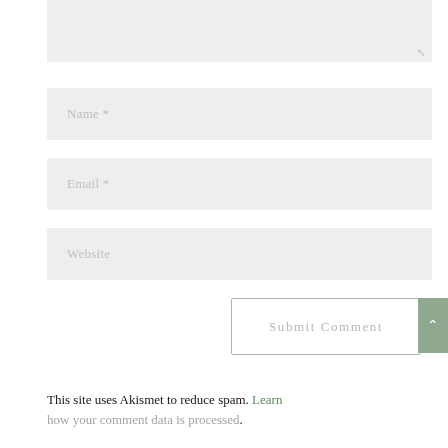[Figure (screenshot): Textarea input field (comment box) with light gray background and resize handle in bottom right corner]
[Figure (screenshot): Name input field with placeholder text 'Name *' on light gray background]
[Figure (screenshot): Email input field with placeholder text 'Email *' on light gray background]
[Figure (screenshot): Website input field with placeholder text 'Website' on light gray background]
[Figure (screenshot): Submit Comment button with sage green border and a scroll-to-top button with upward arrow on sage green background at right edge]
This site uses Akismet to reduce spam. Learn how your comment data is processed.